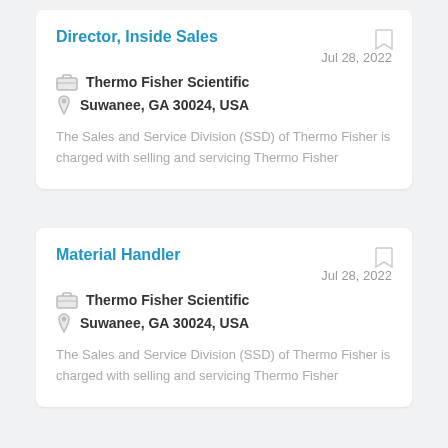Director, Inside Sales
Jul 28, 2022
Thermo Fisher Scientific
Suwanee, GA 30024, USA
The Sales and Service Division (SSD) of Thermo Fisher is charged with selling and servicing Thermo Fisher
Material Handler
Jul 28, 2022
Thermo Fisher Scientific
Suwanee, GA 30024, USA
The Sales and Service Division (SSD) of Thermo Fisher is charged with selling and servicing Thermo Fisher